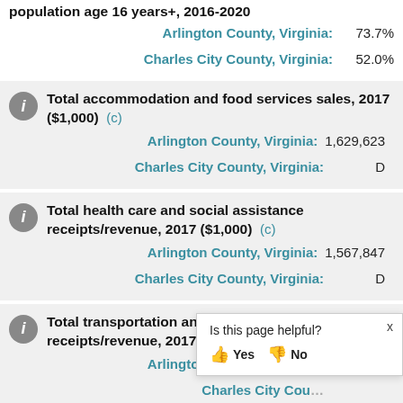population age 16 years+, 2016-2020
Arlington County, Virginia: 73.7%
Charles City County, Virginia: 52.0%
Total accommodation and food services sales, 2017 ($1,000) (c)
Arlington County, Virginia: 1,629,623
Charles City County, Virginia: D
Total health care and social assistance receipts/revenue, 2017 ($1,000) (c)
Arlington County, Virginia: 1,567,847
Charles City County, Virginia: D
Total transportation and warehousing receipts/revenue, 2017 ($1,000) (c)
Arlington County, Virginia: 3,946,615
Charles City County, Virginia: D
Total retail sales, 2017 ($1,000)
Is this page helpful? Yes No